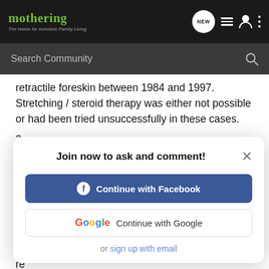mothering — The Home for Inclusive Family Living
Search Community
retractile foreskin between 1984 and 1997. Stretching / steroid therapy was either not possible or had been tried unsuccessfully in these cases.
2... p... w... 2a... s... 7... ci... re... parents explicitly wished so (mainly for religious reasons).
Join now to ask and comment!
Continue with Facebook
Continue with Google
or sign up with email
2 medically necessary circumcisions in 13 years! If it wasn't for